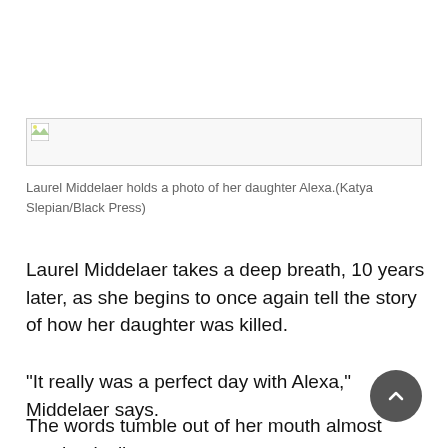[Figure (photo): Broken/placeholder image — photo of Laurel Middelaer holding a photo of her daughter Alexa]
Laurel Middelaer holds a photo of her daughter Alexa.(Katya Slepian/Black Press)
Laurel Middelaer takes a deep breath, 10 years later, as she begins to once again tell the story of how her daughter was killed.
“It really was a perfect day with Alexa,” Middelaer says.
The words tumble out of her mouth almost mechanically as